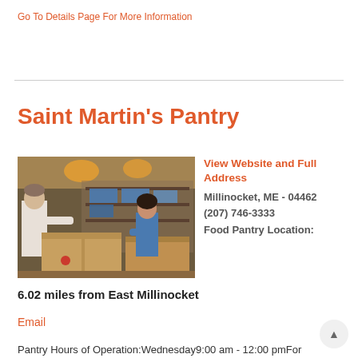Go To Details Page For More Information
Saint Martin's Pantry
[Figure (photo): Two people sorting and packing food boxes at a food pantry, cardboard boxes on tables in a large room]
View Website and Full Address
Millinocket, ME - 04462
(207) 746-3333
Food Pantry Location: 6.02 miles from East Millinocket
Email
Pantry Hours of Operation:Wednesday9:00 am - 12:00 pmFor more information, please call....